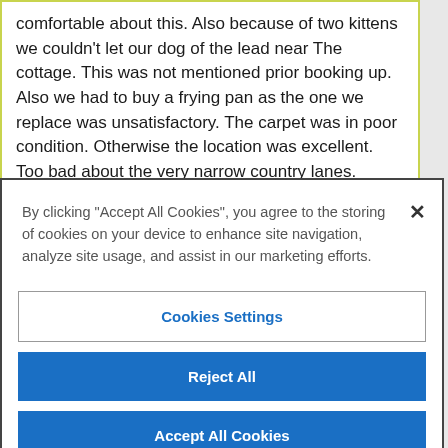comfortable about this. Also because of two kittens we couldn't let our dog of the lead near The cottage. This was not mentioned prior booking up. Also we had to buy a frying pan as the one we replace was unsatisfactory. The carpet was in poor condition. Otherwise the location was excellent. Too bad about the very narrow country lanes.
By clicking "Accept All Cookies", you agree to the storing of cookies on your device to enhance site navigation, analyze site usage, and assist in our marketing efforts.
Cookies Settings
Reject All
Accept All Cookies